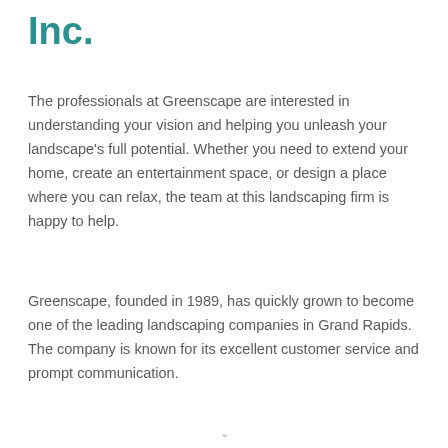Inc.
The professionals at Greenscape are interested in understanding your vision and helping you unleash your landscape's full potential. Whether you need to extend your home, create an entertainment space, or design a place where you can relax, the team at this landscaping firm is happy to help.
Greenscape, founded in 1989, has quickly grown to become one of the leading landscaping companies in Grand Rapids. The company is known for its excellent customer service and prompt communication.